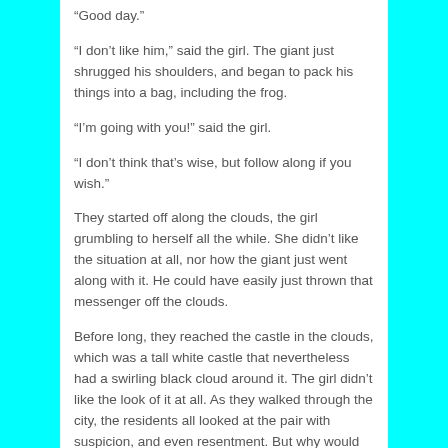“Good day.”
“I don’t like him,” said the girl. The giant just shrugged his shoulders, and began to pack his things into a bag, including the frog.
“I’m going with you!” said the girl.
“I don’t think that’s wise, but follow along if you wish.”
They started off along the clouds, the girl grumbling to herself all the while. She didn’t like the situation at all, nor how the giant just went along with it. He could have easily just thrown that messenger off the clouds.
Before long, they reached the castle in the clouds, which was a tall white castle that nevertheless had a swirling black cloud around it. The girl didn’t like the look of it at all. As they walked through the city, the residents all looked at the pair with suspicion, and even resentment. But why would they care? Was the giant really all that bad?